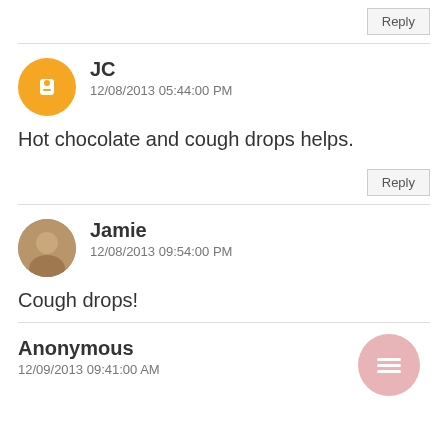Reply
JC
12/08/2013 05:44:00 PM
Hot chocolate and cough drops helps.
Reply
Jamie
12/08/2013 09:54:00 PM
Cough drops!
[Figure (other): Floating action button with menu icon]
Anonymous
12/09/2013 09:41:00 AM